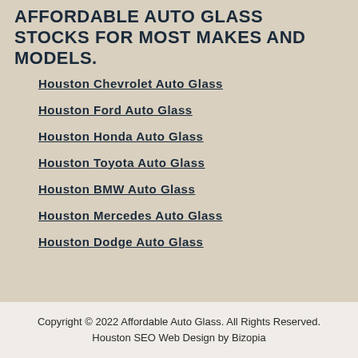AFFORDABLE AUTO GLASS STOCKS FOR MOST MAKES AND MODELS.
Houston Chevrolet Auto Glass
Houston Ford Auto Glass
Houston Honda Auto Glass
Houston Toyota Auto Glass
Houston BMW Auto Glass
Houston Mercedes Auto Glass
Houston Dodge Auto Glass
Copyright © 2022 Affordable Auto Glass. All Rights Reserved. Houston SEO Web Design by Bizopia